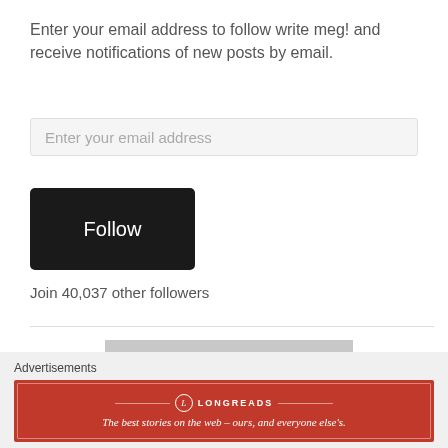Enter your email address to follow write meg! and receive notifications of new posts by email.
Enter your email address
Follow
Join 40,037 other followers
[Figure (photo): Winter bare trees silhouetted against a grey overcast sky]
Advertisements
[Figure (logo): Longreads advertisement banner: red background with Longreads logo and tagline 'The best stories on the web – ours, and everyone else's.']